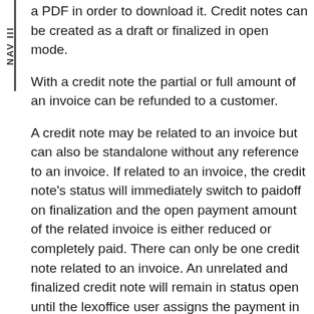NAV III
a PDF in order to download it. Credit notes can be created as a draft or finalized in open mode.
With a credit note the partial or full amount of an invoice can be refunded to a customer.
A credit note may be related to an invoice but can also be standalone without any reference to an invoice. If related to an invoice, the credit note's status will immediately switch to paidoff on finalization and the open payment amount of the related invoice is either reduced or completely paid. There can only be one credit note related to an invoice. An unrelated and finalized credit note will remain in status open until the lexoffice user assigns the payment in lexoffice. Please note, that the printed document does not show the related invoice resp. the invoice number. However, to show the invoice number, it can simply be included in the header text (introduction).